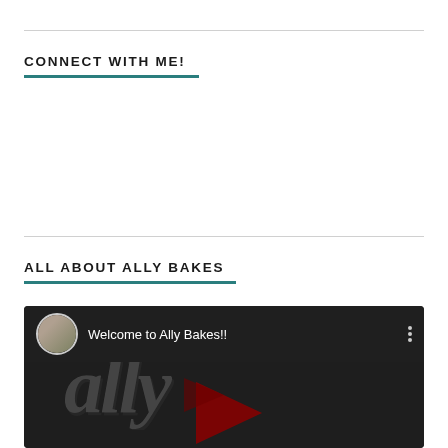CONNECT WITH ME!
ALL ABOUT ALLY BAKES
[Figure (screenshot): YouTube video thumbnail showing 'Welcome to Ally Bakes!!' with a circular avatar photo of a young woman, the word 'ally' in large script lettering, and a partial YouTube play button logo, on a dark background.]